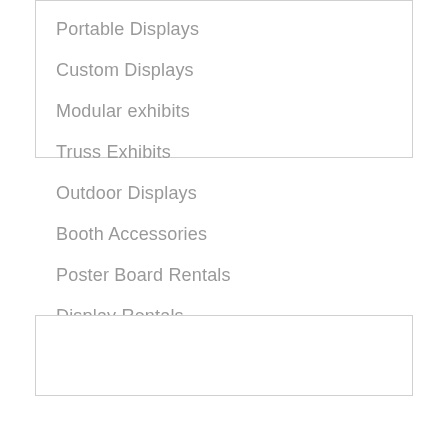Portable Displays
Custom Displays
Modular exhibits
Truss Exhibits
Outdoor Displays
Booth Accessories
Poster Board Rentals
Display Rentals